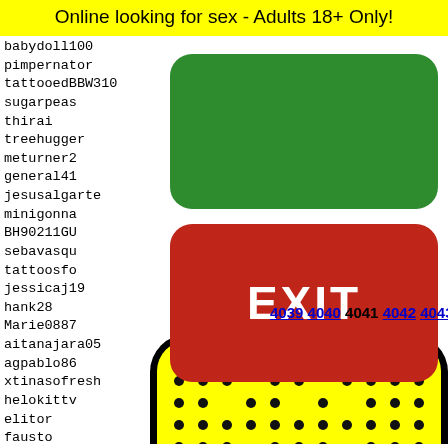Online looking for sex - Adults 18+ Only!
babydoll100
pimpernator
tattooedBBW310
sugarpeas
thirai
treehugger
meturner2
general41
jesusalgarte
minigonna
BH90211GU
sebavasqu
tattoosfo
jessicaj19
hank28
Marie0887
aitanajara05
agpablo86
xtinasofresh
helokittv
elitor
fausto
co0lbo
tommas
unicor
lexa24
[Figure (other): Green rounded rectangle button (no text)]
[Figure (other): Red rounded rectangle button with EXIT text in white]
4039 4040 4041 4042 4043
[Figure (illustration): Yellow padel/paddle racket with black dots pattern and frog/character face at bottom, black border, partially visible]